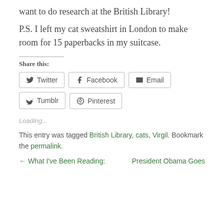want to do research at the British Library!
P.S. I left my cat sweatshirt in London to make room for 15 paperbacks in my suitcase.
Share this:
Twitter | Facebook | Email | Tumblr | Pinterest
Loading...
This entry was tagged British Library, cats, Virgil. Bookmark the permalink.
← What I've Been Reading:   President Obama Goes